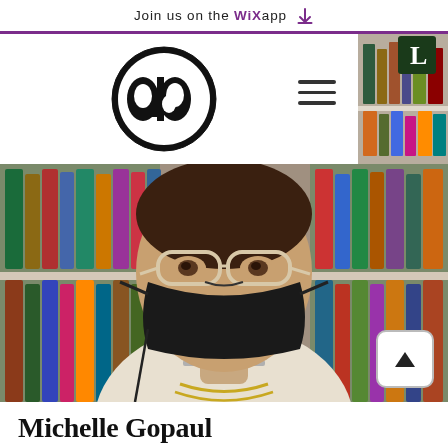Join us on the WiX app ⬇
[Figure (logo): ATP (All the Books?) circular black and white logo with stylized 'atb' letters inside a circle]
[Figure (photo): Person wearing a black face mask and clear-framed glasses, taking a selfie in front of colorful bookshelves in a bookstore. Person is wearing a white jacket and a chain necklace.]
Michelle Gopaul